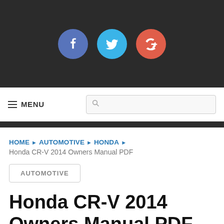[Figure (other): Dark top navigation bar with three social media icons: Facebook (blue circle, f), Twitter (light blue circle, bird), Google+ (red circle, G+)]
MENU [search box]
HOME ▶ AUTOMOTIVE ▶ HONDA ▶
Honda CR-V 2014 Owners Manual PDF
AUTOMOTIVE
Honda CR-V 2014 Owners Manual PDF